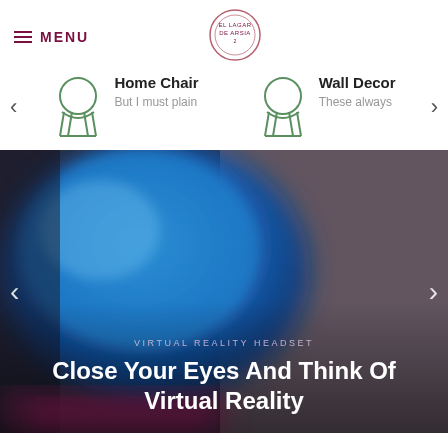MENU | Logo
[Figure (illustration): Navigation category item: chair icon with 'Home Chair' title and 'But I must plain' subtitle]
[Figure (illustration): Navigation category item: chair icon with 'Wall Decor' title and 'These always' subtitle]
[Figure (photo): Close-up blurred photo of a blue virtual reality headset with pink accents on a warm grey background]
VIRTUAL REALITY HEADSET
Close Your Eyes And Think Of Virtual Reality